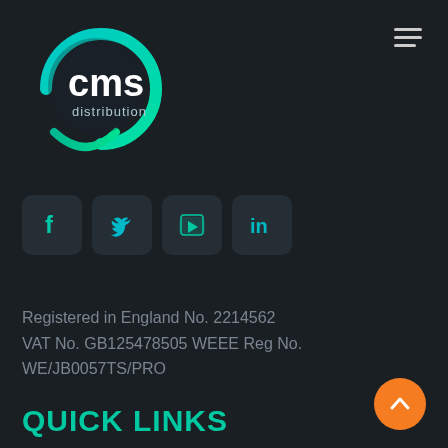[Figure (logo): CMS Distribution logo — circular teal/green gradient arc with white 'cms' text and 'distribution' below, plus a green smile arc below]
[Figure (infographic): Hamburger menu icon (three horizontal gray lines) in the top-right corner]
[Figure (infographic): Four social media icon boxes in a row: Facebook (f), Twitter (bird), YouTube (play button), LinkedIn (in) — teal icons on dark rounded square backgrounds]
Registered in England No. 2214562
VAT No. GB125478505 WEEE Reg No.
WE/JB0057TS/PRO
QUICK LINKS
[Figure (illustration): Orange circular back-to-top button with white upward chevron arrow]